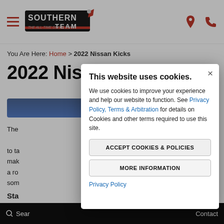Southern Team (logo) | navigation hamburger menu | location and phone icons
You Are Here: Home > 2022 Nissan Kicks
2022 Nissan Kicks
The ... ready to ta... mak... ngine, a ro... som... ks truly...
Sta
[Figure (screenshot): Cookie consent modal dialog overlaying the 2022 Nissan Kicks dealership webpage. Modal contains title 'This website uses cookies.', body text about cookies and privacy policy links, two buttons: 'ACCEPT COOKIES & POLICIES' and 'MORE INFORMATION', and a Privacy Policy link.]
Search | Contact